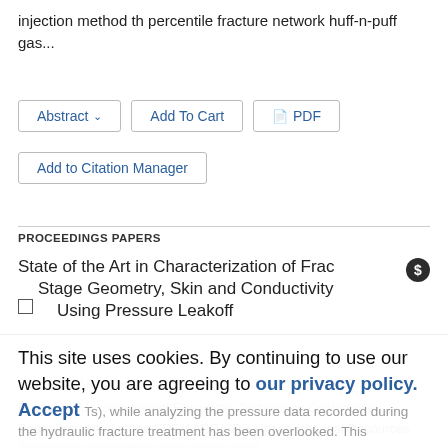injection method th percentile fracture network huff-n-puff gas...
Abstract ∨   Add To Cart   PDF   Add to Citation Manager
PROCEEDINGS PAPERS
State of the Art in Characterization of Frac Stage Geometry, Skin and Conductivity Using Pressure Leakoff
Mohamed Mohamed, Mazher Ibrahim, Erdal Ozkan
Publisher: Unconventional Resources Technology Conference
Paper presented at the SPE/AAPG/SEG Unconventional Resources Technology Conference, July 20–22, 2020
This site uses cookies. By continuing to use our website, you are agreeing to our privacy policy. Accept
Ts), while analyzing the pressure data recorded during the hydraulic fracture treatment has been overlooked. This